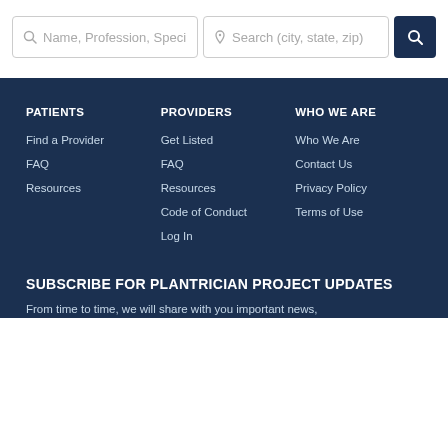Name, Profession, Speci
Search (city, state, zip)
PATIENTS
Find a Provider
FAQ
Resources
PROVIDERS
Get Listed
FAQ
Resources
Code of Conduct
Log In
WHO WE ARE
Who We Are
Contact Us
Privacy Policy
Terms of Use
SUBSCRIBE FOR PLANTRICIAN PROJECT UPDATES
From time to time, we will share with you important news,